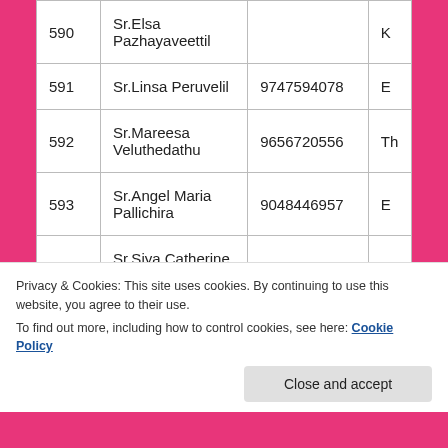| # | Name | Phone |  |
| --- | --- | --- | --- |
| 590 | Sr.Elsa Pazhayaveettil |  | K |
| 591 | Sr.Linsa Peruvelil | 9747594078 | E |
| 592 | Sr.Mareesa Veluthedathu | 9656720556 | Th |
| 593 | Sr.Angel Maria Pallichira | 9048446957 | E |
| 594 | Sr.Siya Catherine Muppathilchira | 9656720556 | C |
Privacy & Cookies: This site uses cookies. By continuing to use this website, you agree to their use.
To find out more, including how to control cookies, see here: Cookie Policy